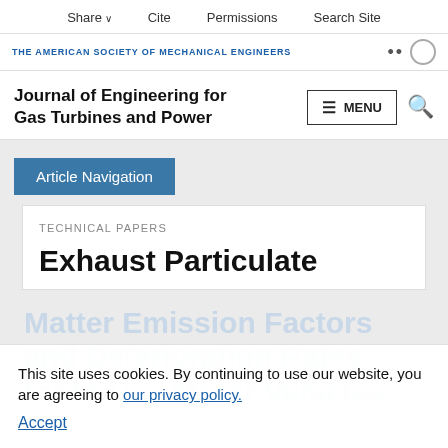Share  Cite  Permissions  Search Site
THE AMERICAN SOCIETY OF MECHANICAL ENGINEERS
Journal of Engineering for Gas Turbines and Power
Article Navigation
TECHNICAL PAPERS
Exhaust Particulate Matter Emission Factors and Deterioration Rates for In-Use Motor Vehicles
This site uses cookies. By continuing to use our website, you are agreeing to our privacy policy. Accept